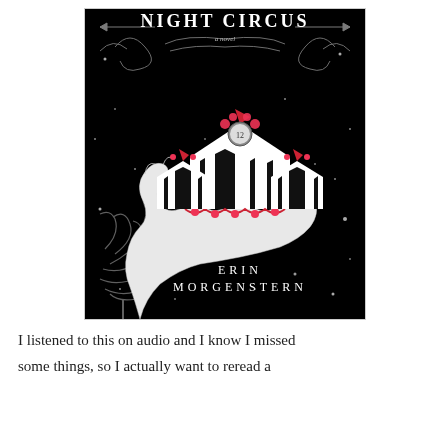[Figure (illustration): Book cover of 'The Night Circus – a novel' by Erin Morgenstern. Black background with white decorative swirls, a white hand holding black-and-white striped circus tents with red accents, and a clock-face figure at the top. Stars scattered across the cover.]
I listened to this on audio and I know I missed some things, so I actually want to reread a